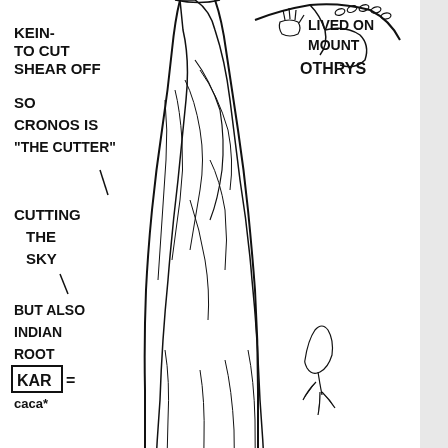[Figure (illustration): Hand-drawn illustration of a robed figure (Cronus/Kronos) holding a sickle/scythe, with handwritten annotation text: 'KEIN - TO CUT / SHEAR OFF', 'SO CRONOS IS "THE CUTTER"', 'CUTTING THE SKY', 'BUT ALSO INDIAN ROOT KAR =', and on the right side 'LIVED ON MOUNT OTHRYS']
Advertisements
[Figure (illustration): DuckDuckGo advertisement banner with orange background. Text: 'Search, browse, and email with more privacy. All in One Free App' with a phone mockup showing DuckDuckGo logo and app name.]